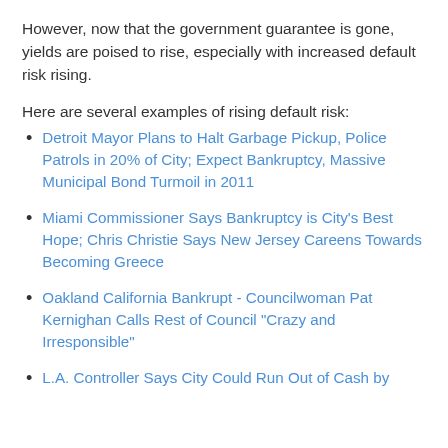However, now that the government guarantee is gone, yields are poised to rise, especially with increased default risk rising.
Here are several examples of rising default risk:
Detroit Mayor Plans to Halt Garbage Pickup, Police Patrols in 20% of City; Expect Bankruptcy, Massive Municipal Bond Turmoil in 2011
Miami Commissioner Says Bankruptcy is City's Best Hope; Chris Christie Says New Jersey Careens Towards Becoming Greece
Oakland California Bankrupt - Councilwoman Pat Kernighan Calls Rest of Council "Crazy and Irresponsible"
L.A. Controller Says City Could Run Out of Cash by